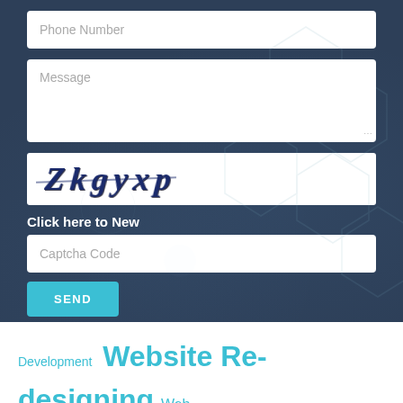[Figure (screenshot): Phone Number input field (white rounded rectangle on dark blue background)]
[Figure (screenshot): Message textarea input field (white rounded rectangle on dark blue background)]
[Figure (screenshot): CAPTCHA image showing distorted text 'Zkgyxp' with a strikethrough line, white background]
Click here to New
[Figure (screenshot): Captcha Code input field (white rounded rectangle on dark blue background)]
[Figure (screenshot): SEND button in teal/cyan color]
Development  Website Re-designing  Web site Maintenance  PHP Web Development